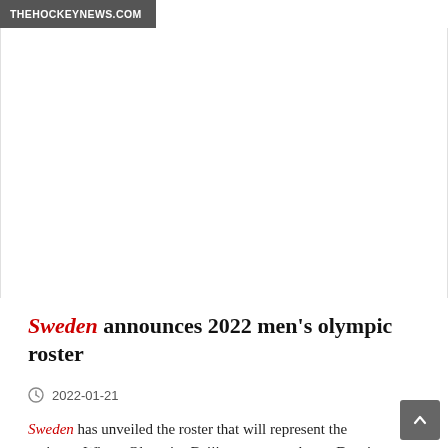THEHOCKEYNEWS.COM
Sweden announces 2022 men's olympic roster
2022-01-21
Sweden has unveiled the roster that will represent the nation at Winter Olympics Beijing next month... ... Despite NHL opting against sending its players to